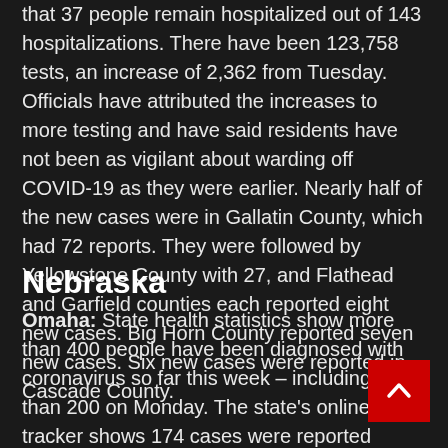that 37 people remain hospitalized out of 143 hospitalizations. There have been 123,758 tests, an increase of 2,362 from Tuesday. Officials have attributed the increases to more testing and have said residents have not been as vigilant about warding off COVID-19 as they were earlier. Nearly half of the new cases were in Gallatin County, which had 72 reports. They were followed by Yellowstone County with 27, and Flathead and Garfield counties each reported eight new cases. Big Horn County reported seven new cases. Six new cases were reported in Cascade County.
Nebraska
Omaha: State health statistics show more than 400 people have been diagnosed with coronavirus so far this week – including more than 200 on Monday. The state's online virus tracker shows 174 cases were reported Sunday, and another 227 cases were reported Monday, bringing the state total to nearly 20,400. Of those, 16,025 have recovered from the virus, according to the site. The total number of deaths attributed to COVID-19,